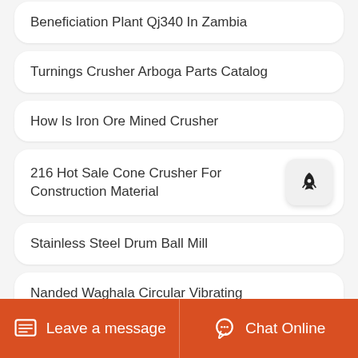Beneficiation Plant Qj340 In Zambia
Turnings Crusher Arboga Parts Catalog
How Is Iron Ore Mined Crusher
216 Hot Sale Cone Crusher For Construction Material
Stainless Steel Drum Ball Mill
Nanded Waghala Circular Vibrating Screen Processing Machine Sand
Leave a message   Chat Online